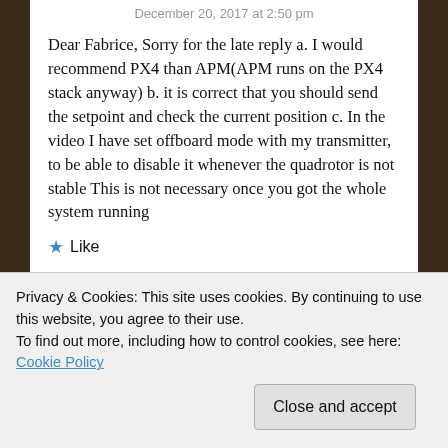December 20, 2017 at 2:50 pm
Dear Fabrice, Sorry for the late reply a. I would recommend PX4 than APM(APM runs on the PX4 stack anyway) b. it is correct that you should send the setpoint and check the current position c. In the video I have set offboard mode with my transmitter, to be able to disable it whenever the quadrotor is not stable This is not necessary once you got the whole system running
★ Like
Reply
Privacy & Cookies: This site uses cookies. By continuing to use this website, you agree to their use.
To find out more, including how to control cookies, see here: Cookie Policy
Close and accept